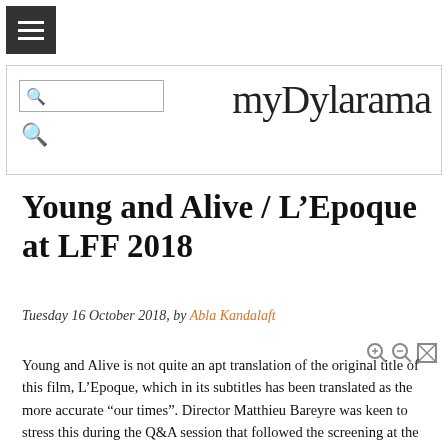myDylarama
Young and Alive / L’Epoque at LFF 2018
Tuesday 16 October 2018, by Abla Kandalaft
Young and Alive is not quite an apt translation of the original title of this film, L’Epoque, which in its subtitles has been translated as the more accurate "our times". Director Matthieu Bareyre was keen to stress this during the Q&A session that followed the screening at the London Film Festival.
The documentary had made its debut in Locarno and this was